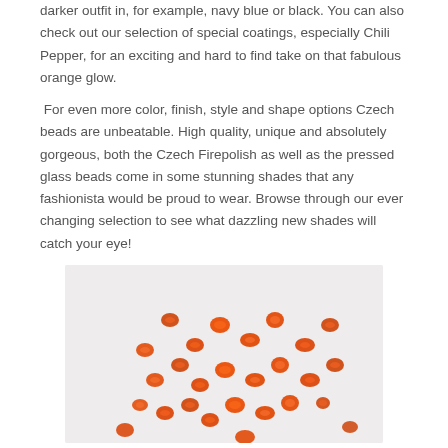darker outfit in, for example, navy blue or black. You can also check out our selection of special coatings, especially Chili Pepper, for an exciting and hard to find take on that fabulous orange glow.
For even more color, finish, style and shape options Czech beads are unbeatable. High quality, unique and absolutely gorgeous, both the Czech Firepolish as well as the pressed glass beads come in some stunning shades that any fashionista would be proud to wear. Browse through our ever changing selection to see what dazzling new shades will catch your eye!
[Figure (photo): Photo of small orange Czech glass bicone/firepolish beads scattered on a light gray background]